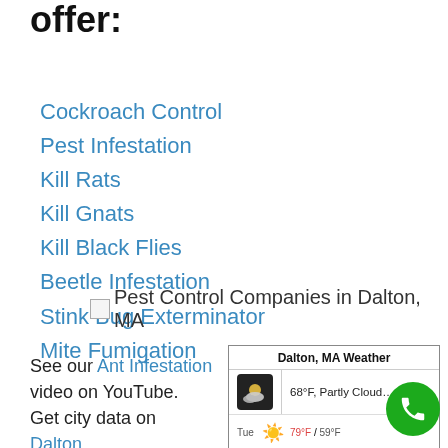offer:
Cockroach Control
Pest Infestation
Kill Rats
Kill Gnats
Kill Black Flies
Beetle Infestation
Stink Bug Exterminator
Mite Fumigation
[Figure (other): Pest Control Companies in Dalton, MA - broken image placeholder with alt text]
See our Ant Infestation video on YouTube. Get city data on Dalton
[Figure (other): Dalton, MA Weather widget showing 68°F, Partly Cloudy and Tue forecast with sun icon and 79°F / 59°F temperatures]